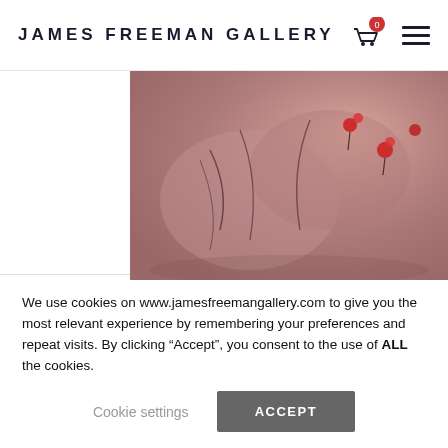JAMES FREEMAN GALLERY
[Figure (photo): A painting titled Bittersweet showing abstract forms with dark lines and red floral elements on a muted rose/mauve background.]
Bittersweet
We use cookies on www.jamesfreemangallery.com to give you the most relevant experience by remembering your preferences and repeat visits. By clicking “Accept”, you consent to the use of ALL the cookies.
Cookie settings   ACCEPT